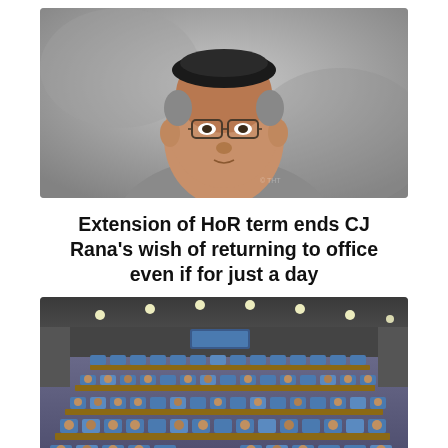[Figure (photo): Close-up portrait of an elderly Nepali man wearing glasses, a traditional Nepali topi (black cap), and a grey suit. Background is blurred.]
Extension of HoR term ends CJ Rana's wish of returning to office even if for just a day
[Figure (photo): Wide-angle interior photo of the Nepali parliament chamber (House of Representatives) with blue seats, members seated, wooden desks, ceiling lights, and a screen visible in the background.]